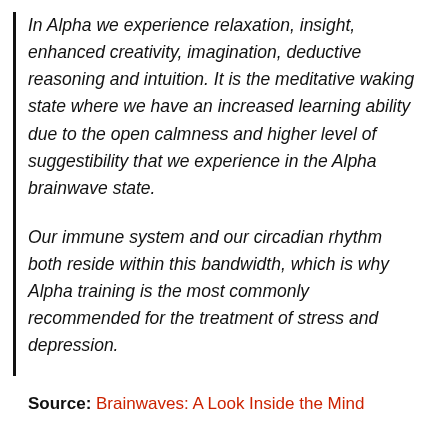In Alpha we experience relaxation, insight, enhanced creativity, imagination, deductive reasoning and intuition. It is the meditative waking state where we have an increased learning ability due to the open calmness and higher level of suggestibility that we experience in the Alpha brainwave state.
Our immune system and our circadian rhythm both reside within this bandwidth, which is why Alpha training is the most commonly recommended for the treatment of stress and depression.
Source: Brainwaves: A Look Inside the Mind